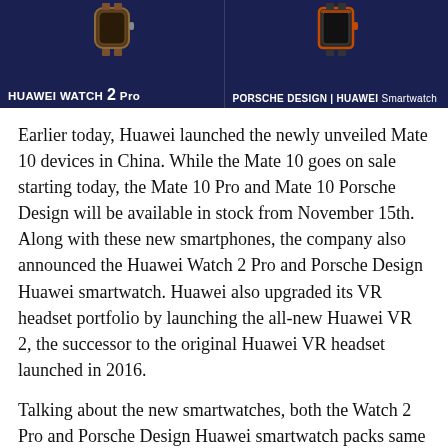[Figure (photo): Two smartwatches displayed side by side on a dark navy blue banner background. Left: Huawei Watch 2 Pro with a brown leather band. Right: Porsche Design Huawei Smartwatch with a dark band.]
HUAWEI WATCH 2 Pro
PORSCHE DESIGN | HUAWEI Smartwatch
Earlier today, Huawei launched the newly unveiled Mate 10 devices in China. While the Mate 10 goes on sale starting today, the Mate 10 Pro and Mate 10 Porsche Design will be available in stock from November 15th. Along with these new smartphones, the company also announced the Huawei Watch 2 Pro and Porsche Design Huawei smartwatch. Huawei also upgraded its VR headset portfolio by launching the all-new Huawei VR 2, the successor to the original Huawei VR headset launched in 2016.
Talking about the new smartwatches, both the Watch 2 Pro and Porsche Design Huawei smartwatch packs same hardware internally. However, the Porsche Design